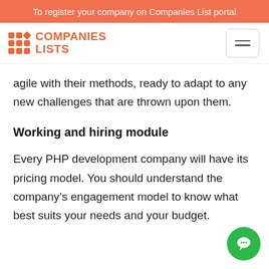To register your company on Companies List portal
[Figure (logo): Companies Lists logo with orange grid dots and diamond icon next to orange text COMPANIES LISTS]
agile with their methods, ready to adapt to any new challenges that are thrown upon them.
Working and hiring module
Every PHP development company will have its pricing model. You should understand the company’s engagement model to know what best suits your needs and your budget.